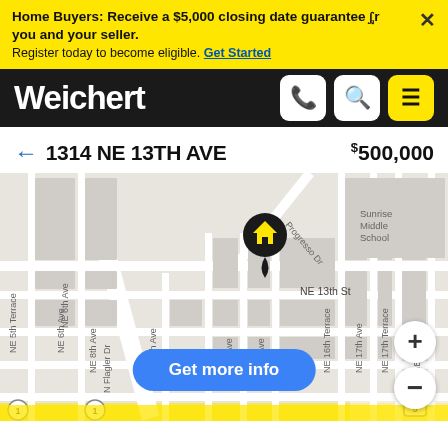Home Buyers: Receive a $5,000 closing date guarantee for you and your seller. Register today to become eligible. Get Started
Weichert
← 1314 NE 13TH AVE   $500,000
[Figure (map): Street map showing location of 1314 NE 13th Ave with a black pin with yellow house icon. Map shows surrounding streets including NE 13th St, NE 12th St, NE 11th St, NE 16th Terrace, NE 17th Ave, NE 17th Terrace, NE 18th Ave, NE 5th Terrace, NE 6th Ave, NE 10th, NE 11th Ave, NE 12th Ave, Progresso Dr, N Flagler Dr, NE 8th Ave, N Federal Hwy. Neighborhood label: LAKE RIDGE. Landmark: Sunrise Middle School. Road markers: 1, 5.]
Get more info